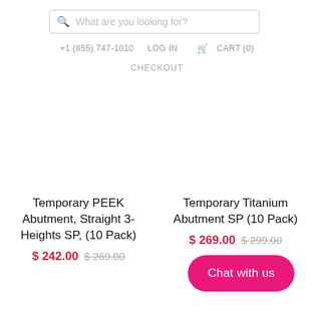What are you looking for?
+1 (855) 747-1010   LOG IN   CART (0)
CHECKOUT
Temporary PEEK Abutment, Straight 3-Heights SP, (10 Pack)
$ 242.00  $ 269.00
Temporary Titanium Abutment SP (10 Pack)
$ 269.00  $ 299.00
Chat with us